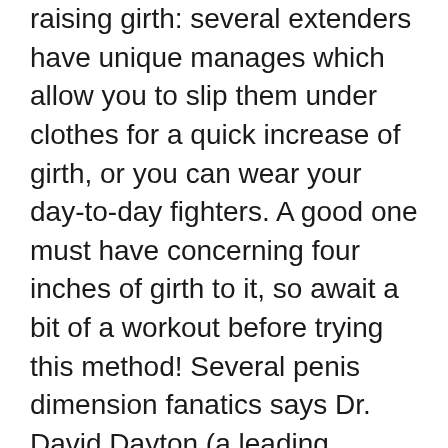raising girth: several extenders have unique manages which allow you to slip them under clothes for a quick increase of girth, or you can wear your day-to-day fighters. A good one must have concerning four inches of girth to it, so await a bit of a workout before trying this method! Several penis dimension fanatics says Dr. David Dayton (a leading medical professional in the penis enhancement field) suggests the use of a penis extender of as much as 6 inches in size.
Next comes the penile sleeve, which is just an item of towel or comparable material that wraps around your entire penis, giving a buffer zone for girth as well as a tight wrap around the head to assist with attachment.